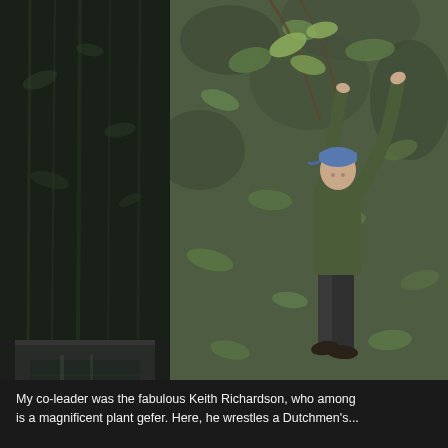[Figure (photo): Left panel showing a dark background with faint green foliage and a concrete or stone structure visible at the bottom, with dramatic vertical lighting]
[Figure (photo): A man wearing a blue cap and olive green jacket reaching upward with both arms to examine or pull down a leafy branch on a steep, moss-covered hillside in a forest setting]
My co-leader was the fabulous Keith Richardson, who among is a magnificent plant gefer. Here, he wrestles a Dutchmen's...